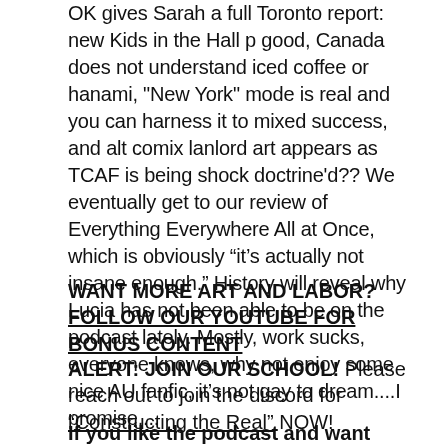OK gives Sarah a full Toronto report: new Kids in the Hall p good, Canada does not understand iced coffee or hanami, "New York" mode is real and you can harness it to mixed success, and alt comix lanlord art appears as TCAF is being shock doctrine'd?? We eventually get to our review of Everything Everywhere All at Once, which is obviously “it’s actually not insane enough.” History will reveal why Lucia has not been able to be on the podcast lately. Mostly, work sucks, everyone knows, why not enjoy some nice AU fanfic, it’s not gay to dream....I promise....
WANT MORE ART AND LABOR? FOLLOW OUR YOUTUBE FOR BONUS CONTENT
ALERT: JOIN OUR SCHOOL! Please reach out to join the discord for “Constructing the Real” NOW!
If you like the podcast and want more, please